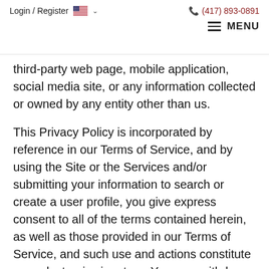Login / Register   (417) 893-0891   MENU
third-party web page, mobile application, social media site, or any information collected or owned by any entity other than us.
This Privacy Policy is incorporated by reference in our Terms of Service, and by using the Site or the Services and/or submitting your information to search or create a user profile, you give express consent to all of the terms contained herein, as well as those provided in our Terms of Service, and such use and actions constitute your electronic signature. You may withdraw this consent by using the opt-out procedures